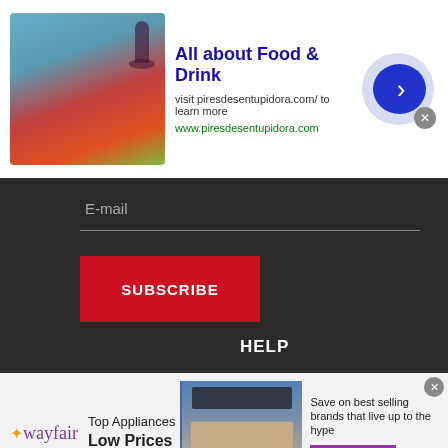[Figure (illustration): Ad banner for piresdesentupidora.com featuring food and drink image on left, title 'All about Food & Drink', subtitle text and URL, and a blue arrow button on right]
All about Food & Drink
visit piresdesentupidora.com/ to learn more
www.piresdesentupidora.com
E-mail
SUBSCRIBE
CONTACT
SYSTEMS
MAILING ADDRESS
TAGS  /  SEARCH
HELP
[Figure (illustration): Wayfair advertisement banner showing logo, Top Appliances Low Prices text, appliance image, Save on best selling brands that live up to the hype, and Shop now button]